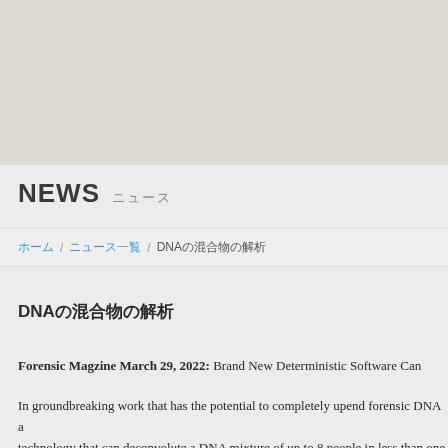[Figure (photo): Top banner area with light beige/grey background, appears to be a decorative or image placeholder area]
NEWS　ニュース
ホーム / ニュース一覧 / DNAの混合物の解析
DNAの混合物の解析
Forensic Magzine March 29, 2022: Brand New Deterministic Software Can
In groundbreaking work that has the potential to completely upend forensic DNA a technology that can deconvolute a DNA mixture of up to 8 people in less than one